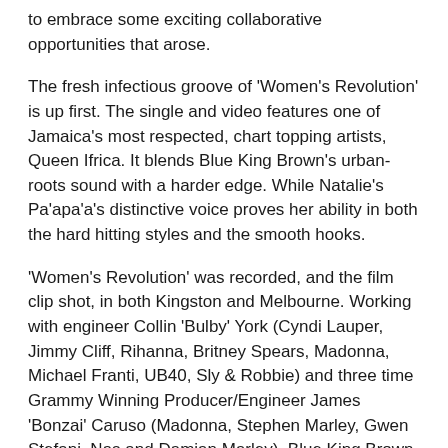to embrace some exciting collaborative opportunities that arose.
The fresh infectious groove of 'Women's Revolution' is up first. The single and video features one of Jamaica's most respected, chart topping artists, Queen Ifrica. It blends Blue King Brown's urban-roots sound with a harder edge. While Natalie's Pa'apa'a's distinctive voice proves her ability in both the hard hitting styles and the smooth hooks.
'Women's Revolution' was recorded, and the film clip shot, in both Kingston and Melbourne. Working with engineer Collin 'Bulby' York (Cyndi Lauper, Jimmy Cliff, Rihanna, Britney Spears, Madonna, Michael Franti, UB40, Sly & Robbie) and three time Grammy Winning Producer/Engineer James 'Bonzai' Caruso (Madonna, Stephen Marley, Gwen Stefani, Nas and Damian Marley), Blue King Brown are once again pushing genre boundaries and creating a fresh and unique sound, to explode onto the Australian market and spread their word to the world.